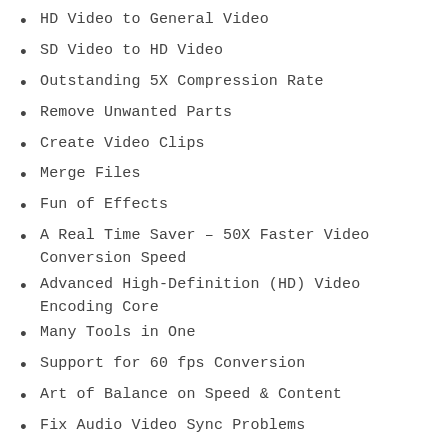HD Video to General Video
SD Video to HD Video
Outstanding 5X Compression Rate
Remove Unwanted Parts
Create Video Clips
Merge Files
Fun of Effects
A Real Time Saver – 50X Faster Video Conversion Speed
Advanced High-Definition (HD) Video Encoding Core
Many Tools in One
Support for 60 fps Conversion
Art of Balance on Speed & Content
Fix Audio Video Sync Problems
WonderFox Original Batch Conversion Mode
Remarkable Web Video Profiles
Ringtone Maker
Volume Booster